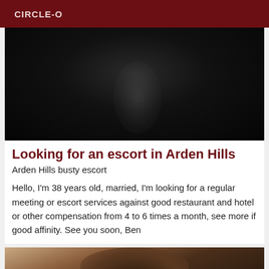CIRCLE-O
[Figure (photo): Dark, nearly black photograph with faint silhouette or figure visible in the center]
Looking for an escort in Arden Hills
Arden Hills busty escort
Hello, I'm 38 years old, married, I'm looking for a regular meeting or escort services against good restaurant and hotel or other compensation from 4 to 6 times a month, see more if good affinity. See you soon, Ben
[Figure (photo): Partial photo of a person with dark hair, cropped at bottom of page]